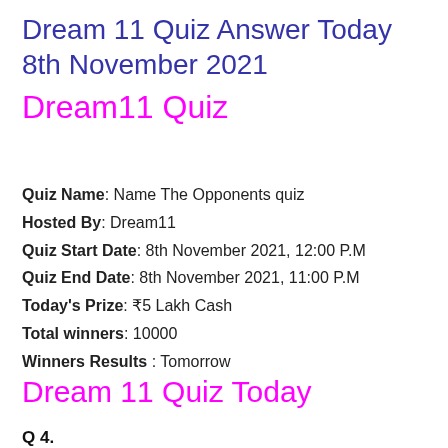Dream 11 Quiz Answer Today 8th November 2021
Dream11 Quiz
Quiz Name: Name The Opponents quiz
Hosted By: Dream11
Quiz Start Date: 8th November 2021, 12:00 P.M
Quiz End Date: 8th November 2021, 11:00 P.M
Today's Prize: ₹5 Lakh Cash
Total winners: 10000
Winners Results : Tomorrow
Dream 11 Quiz Today
Q 4.